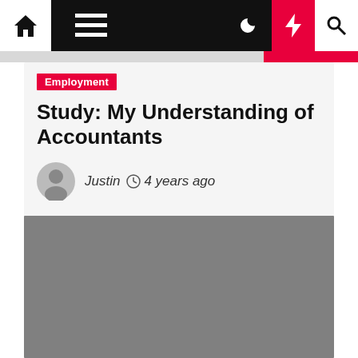Navigation bar with home, menu, moon, lightning, and search icons
Study: My Understanding of Accountants
Employment
Justin  4 years ago
[Figure (photo): Gray image placeholder rectangle below the article header card]